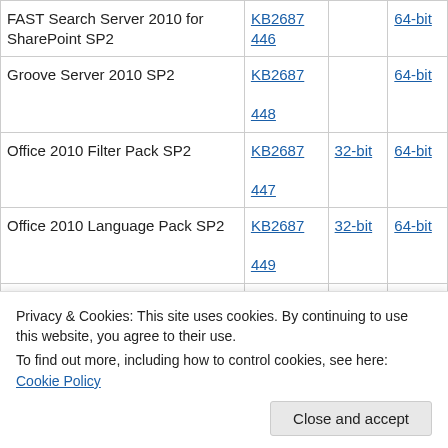| Product | KB Article | 32-bit | 64-bit |
| --- | --- | --- | --- |
| FAST Search Server 2010 for SharePoint SP2 | KB2687446 |  | 64-bit |
| Groove Server 2010 SP2 | KB2687448 |  | 64-bit |
| Office 2010 Filter Pack SP2 | KB2687447 | 32-bit | 64-bit |
| Office 2010 Language Pack SP2 | KB2687449 | 32-bit | 64-bit |
| Office 2010 SP2 | KB2687455 | 32-bit | 64-bit |
| Office Language Interface Pack 2010 SP2 | KB2687458 | See KB | See KB |
| PowerPoint Viewer SP2 | KB2687... | 32-bit |  |
Privacy & Cookies: This site uses cookies. By continuing to use this website, you agree to their use.
To find out more, including how to control cookies, see here: Cookie Policy